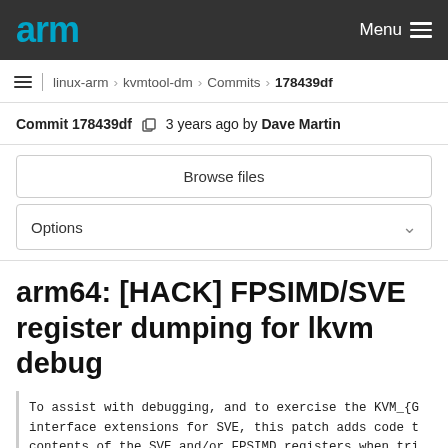arm Menu
linux-arm › kvmtool-dm › Commits › 178439df
Commit 178439df  3 years ago by Dave Martin
Browse files
Options
arm64: [HACK] FPSIMD/SVE register dumping for lkvm debug
To assist with debugging, and to exercise the KVM_{G interface extensions for SVE, this patch adds code t contents of the SVE and/or FPSIMD registers when tri lkvm debug -d.